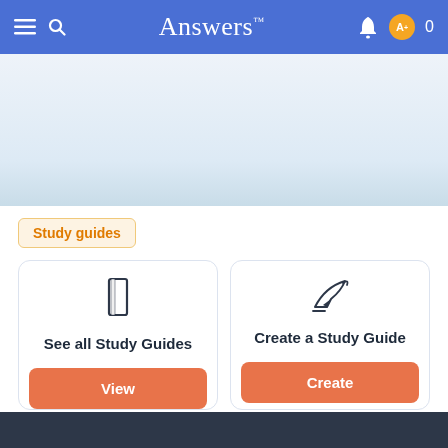Answers™
[Figure (screenshot): Light blue gradient banner area (advertisement/hero area placeholder)]
Study guides
See all Study Guides
View
Create a Study Guide
Create